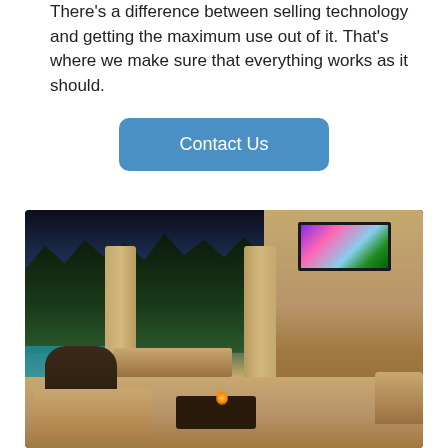There's a difference between selling technology and getting the maximum use out of it. That's where we make sure that everything works as it should.
Contact Us
[Figure (photo): Luxurious outdoor living area at dusk featuring stone columns with arched openings, an outdoor fireplace with a large flat-screen TV mounted above it displaying a colorful sunset scene, an outdoor kitchen/bar area with bar stools, elegant wrought-iron patio furniture with cushioned seating, a coffee table with candles, and a swimming pool visible in the background through the archways, surrounded by tropical trees and vegetation.]